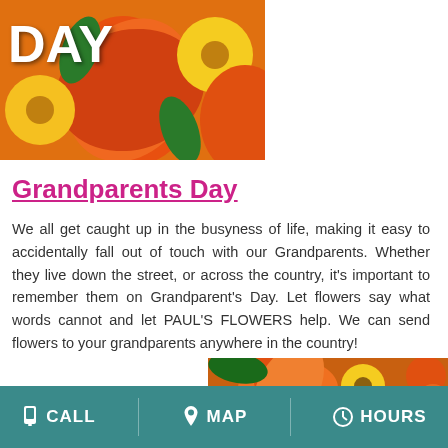[Figure (photo): Photo of orange lilies and yellow daisy flowers with text 'DAY' overlaid in white bold letters at top left]
Grandparents Day
We all get caught up in the busyness of life, making it easy to accidentally fall out of touch with our Grandparents. Whether they live down the street, or across the country, it's important to remember them on Grandparent's Day. Let flowers say what words cannot and let PAUL'S FLOWERS help. We can send flowers to your grandparents anywhere in the country!
[Figure (photo): Close-up photo of orange lilies, a yellow sunflower/daisy, and orange roses]
CALL   MAP   HOURS